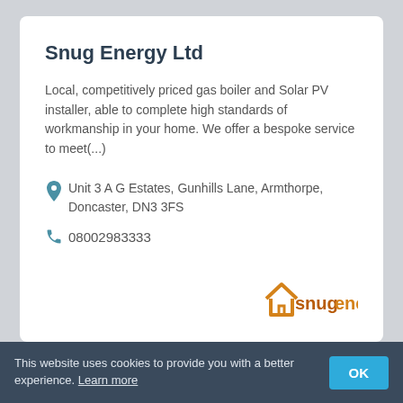Snug Energy Ltd
Local, competitively priced gas boiler and Solar PV installer, able to complete high standards of workmanship in your home. We offer a bespoke service to meet(...)
Unit 3 A G Estates, Gunhills Lane, Armthorpe, Doncaster, DN3 3FS
08002983333
[Figure (logo): Snug Energy logo showing a house outline icon in orange with the text 'snugenergy' in orange and brown]
This website uses cookies to provide you with a better experience. Learn more